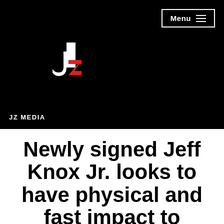[Figure (logo): JZ Media logo on black background — stylized 'jz' letters, 'j' in white and 'z' in red]
JZ MEDIA
Newly signed Jeff Knox Jr. looks to have physical and fast impact to Redblacks'